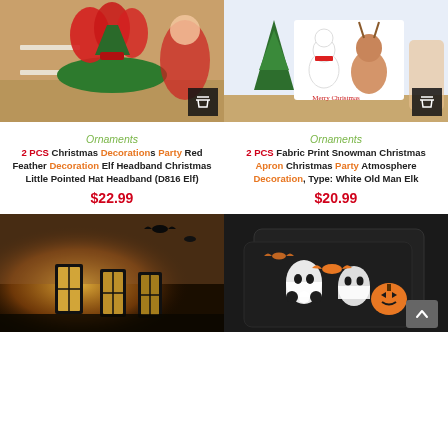[Figure (photo): Christmas elf headband with red feathers on green headband, holiday decorations in background]
[Figure (photo): Inflatable Christmas snowman/old man and reindeer cutout display, Merry Christmas text, child in background]
Ornaments
Ornaments
2 PCS Christmas Decorations Party Red Feather Decoration Elf Headband Christmas Little Pointed Hat Headband (D816 Elf)
2 PCS Fabric Print Snowman Christmas Apron Christmas Party Atmosphere Decoration, Type: White Old Man Elk
$22.99
$20.99
[Figure (photo): Halloween lanterns glowing orange in dark setting with bat silhouettes]
[Figure (photo): Black Halloween throw pillows with ghost, bat, and pumpkin designs on dark background]